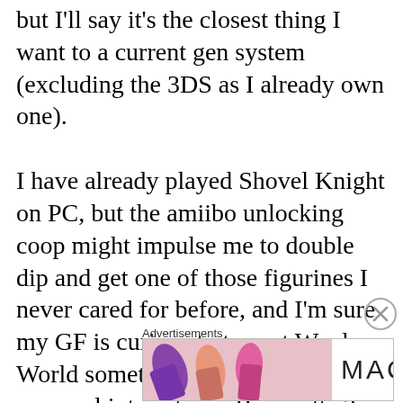but I'll say it's the closest thing I want to a current gen system (excluding the 3DS as I already own one). I have already played Shovel Knight on PC, but the amiibo unlocking coop might impulse me to double dip and get one of those figurines I never cared for before, and I'm sure my GF is curious to try out Wooly World sometime down the road. My personal interests are Bayonetta 2 and Smash Bros, but I also want to give Rainbow Curse a shot, despite reading some disappointing aspects about it in comparison to Canvas Curse, and Zelda will hopefully be out by next year to see how it handles the whole open
[Figure (other): Close button (X in circle) for advertisement overlay]
Advertisements
[Figure (photo): MAC cosmetics advertisement banner showing colorful lipsticks on the left and right sides, MAC logo in center, and a SHOP NOW button]